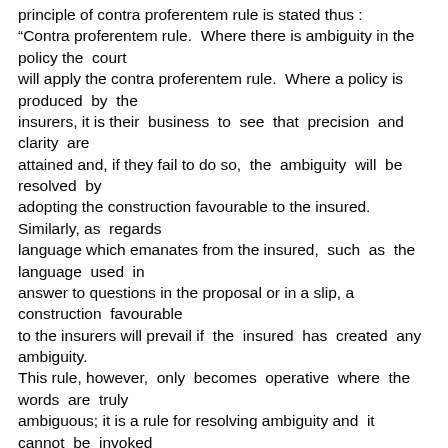principle of contra proferentem rule is stated thus : "Contra proferentem rule.  Where there is ambiguity in the policy the  court will apply the contra proferentem rule.  Where a policy is produced  by  the insurers, it is their  business  to  see  that  precision  and  clarity  are attained and, if they fail to do so,  the  ambiguity  will  be  resolved  by adopting the construction favourable to the insured.  Similarly, as  regards language which emanates from the insured,  such  as  the  language  used  in answer to questions in the proposal or in a slip, a  construction  favourable to the insurers will prevail if  the  insured  has  created  any  ambiguity. This rule, however,  only  becomes  operative  where  the  words  are  truly ambiguous; it is a rule for resolving ambiguity and  it  cannot  be  invoked with a view to creating a doubt.  Therefore, where the words